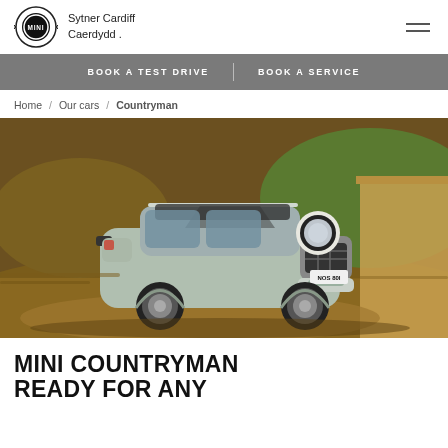Sytner Cardiff Caerdydd
BOOK A TEST DRIVE | BOOK A SERVICE
Home / Our cars / Countryman
[Figure (photo): MINI Countryman SUV driving on a dirt road in golden hour light, surrounded by dry grassy hills. The car is silver/green with black roof stripes and roof rails. License plate reads NOS 80I.]
MINI COUNTRYMAN READY FOR ANY...